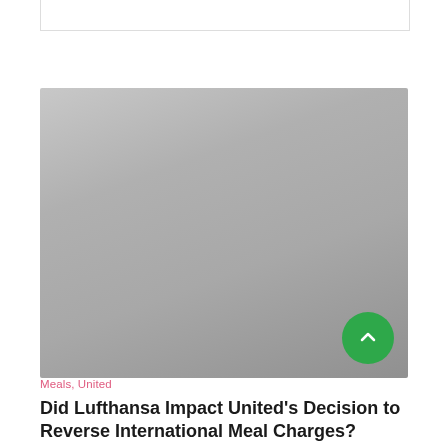[Figure (photo): Large gray placeholder image area representing an article hero image]
Meals, United
Did Lufthansa Impact United's Decision to Reverse International Meal Charges?